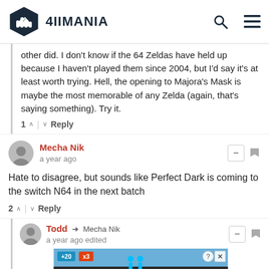4IIMANIA
other did. I don't know if the 64 Zeldas have held up because I haven't played them since 2004, but I'd say it's at least worth trying. Hell, the opening to Majora's Mask is maybe the most memorable of any Zelda (again, that's saying something). Try it.
1 ∧ | ∨ Reply
Mecha Nik — a year ago
Hate to disagree, but sounds like Perfect Dark is coming to the switch N64 in the next batch
2 ∧ | ∨ Reply
Todd → Mecha Nik — a year ago edited
[Figure (screenshot): Advertisement banner showing two figures and text 'Hold and Move' with tags '+20' and 'x3']
played it with friends. The weapons and bombs